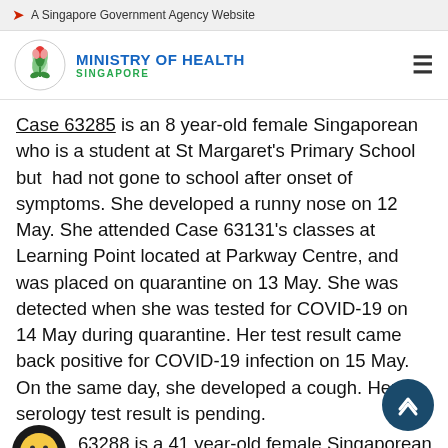A Singapore Government Agency Website
[Figure (logo): Ministry of Health Singapore logo with stylized plant/lotus icon, blue text 'MINISTRY OF HEALTH' and green text 'SINGAPORE']
Case 63285 is an 8 year-old female Singaporean who is a student at St Margaret's Primary School but had not gone to school after onset of symptoms. She developed a runny nose on 12 May. She attended Case 63131's classes at Learning Point located at Parkway Centre, and was placed on quarantine on 13 May. She was detected when she was tested for COVID-19 on 14 May during quarantine. Her test result came back positive for COVID-19 infection on 15 May. On the same day, she developed a cough. Her serology test result is pending.
Case 63288 is a 41 year-old female Singaporean who works at Celestica Electronics Pte Ltd. She is a family